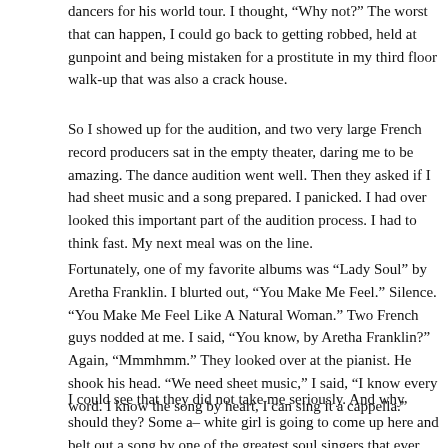dancers for his world tour. I thought, “Why not?” The worst that can happen, I could go back to getting robbed, held at gunpoint and being mistaken for a prostitute in my third floor walk-up that was also a crack house.
So I showed up for the audition, and two very large French record producers sat in the empty theater, daring me to be amazing. The dance audition went well. Then they asked if I had sheet music and a song prepared. I panicked. I had overlooked this important part of the audition process. I had to think fast. My next meal was on the line.
Fortunately, one of my favorite albums was “Lady Soul” by Aretha Franklin. I blurted out, “You Make Me Feel.” Silence. “You Make Me Feel Like A Natural Woman.” Two French guys nodded at me. I said, “You know, by Aretha Franklin?” Again, “Mmmhmm.” They looked over at the pianist. He shook his head. “We need sheet music,” I said, “I know every word. I know the song by heart, I can sing it a cappella.”
I could see that they did not take me seriously. And why should they? Some a– white girl is going to come up here and belt out a song by one of the greatest soul singers that ever lived? A cappella? I said, “Bitch, I’m Madonna.”